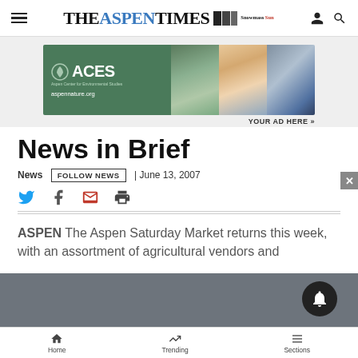THE ASPEN TIMES | Snowmass Sun
[Figure (other): ACES (Aspen Center for Environmental Studies) advertisement banner with logo and nature photos. aspennature.org]
YOUR AD HERE »
News in Brief
News | FOLLOW NEWS | June 13, 2007
Social share icons: Twitter, Facebook, Email, Print
ASPEN The Aspen Saturday Market returns this week, with an assortment of agricultural vendors and
Home | Trending | Sections